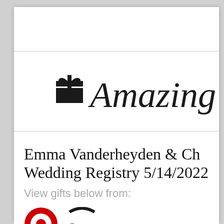[Figure (logo): Amazing Registry logo: gift box icon and cursive 'Amazing R...' text, partially cropped on right]
Emma Vanderheyden & Ch... Wedding Registry 5/14/2022
View gifts below from:
[Figure (logo): Target and Amazon logos partially visible at bottom]